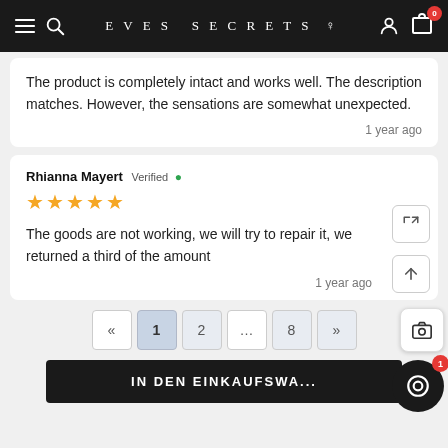EVES SECRETS
The product is completely intact and works well. The description matches. However, the sensations are somewhat unexpected.
1 year ago
Rhianna Mayert Verified ✓
★★★★★
The goods are not working, we will try to repair it, we returned a third of the amount
1 year ago
« 1 2 … 8 »
IN DEN EINKAUFSWA...